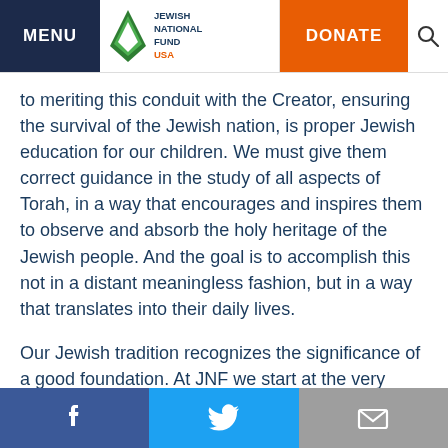MENU | Jewish National Fund USA | DONATE
to meriting this conduit with the Creator, ensuring the survival of the Jewish nation, is proper Jewish education for our children. We must give them correct guidance in the study of all aspects of Torah, in a way that encourages and inspires them to observe and absorb the holy heritage of the Jewish people. And the goal is to accomplish this not in a distant meaningless fashion, but in a way that translates into their daily lives.
Our Jewish tradition recognizes the significance of a good foundation. At JNF we start at the very beginning with the education of and dedication to our children. Jewish National Fund is one of the few organizations in the world that is present in all phases of life from early childhood to active senior living. JNF prides itself on being one of the largest providers of Jewish education and advocacy
Facebook | Twitter | Email